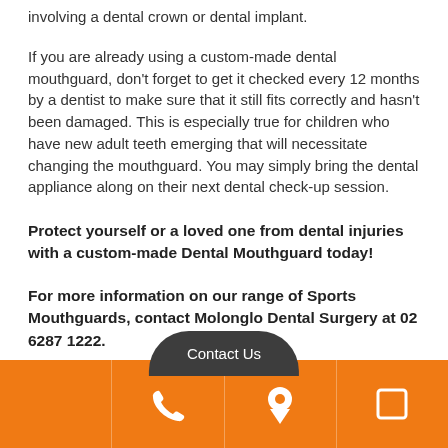involving a dental crown or dental implant.
If you are already using a custom-made dental mouthguard, don't forget to get it checked every 12 months by a dentist to make sure that it still fits correctly and hasn't been damaged. This is especially true for children who have new adult teeth emerging that will necessitate changing the mouthguard. You may simply bring the dental appliance along on their next dental check-up session.
Protect yourself or a loved one from dental injuries with a custom-made Dental Mouthguard today!
For more information on our range of Sports Mouthguards, contact Molonglo Dental Surgery at 02 6287 1222.
[Figure (other): Orange navigation bar at bottom with phone icon, map pin icon, and a square/chat icon. Also a 'Contact Us' button above the bar in dark grey.]